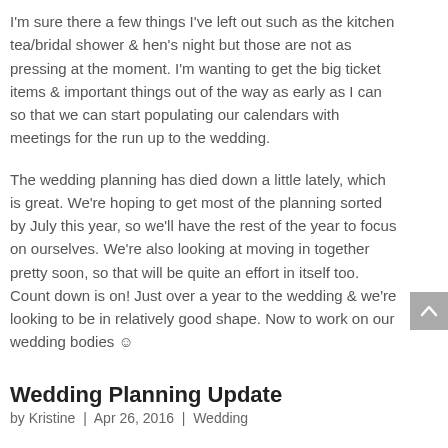I'm sure there a few things I've left out such as the kitchen tea/bridal shower & hen's night but those are not as pressing at the moment. I'm wanting to get the big ticket items & important things out of the way as early as I can so that we can start populating our calendars with meetings for the run up to the wedding.
The wedding planning has died down a little lately, which is great. We're hoping to get most of the planning sorted by July this year, so we'll have the rest of the year to focus on ourselves. We're also looking at moving in together pretty soon, so that will be quite an effort in itself too. Count down is on! Just over a year to the wedding & we're looking to be in relatively good shape. Now to work on our wedding bodies ☺
Wedding Planning Update
by Kristine  |  Apr 26, 2016  |  Wedding